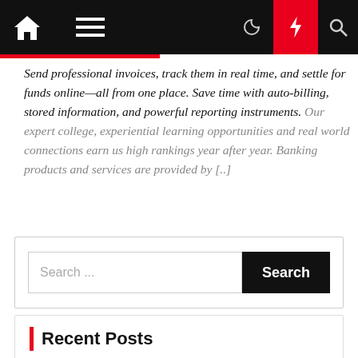Navigation bar with home, menu, moon, bolt, and search icons
Send professional invoices, track them in real time, and settle for funds online—all from one place. Save time with auto-billing, stored information, and powerful reporting instruments. Our expert college, experiential learning opportunities and real world connections earn us high rankings year after year. Banking products and services are provided by [..]
Search ...
Recent Posts